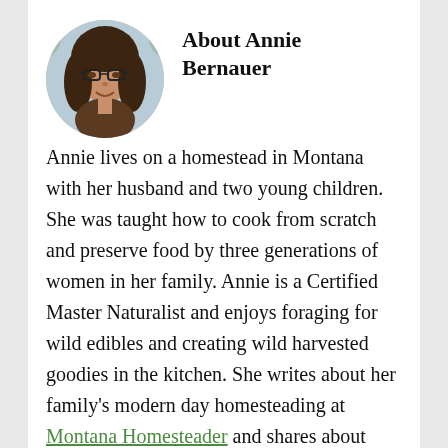[Figure (photo): Circular portrait photo of Annie Bernauer, a woman with glasses and long dark hair, outdoors in winter]
About Annie Bernauer
Annie lives on a homestead in Montana with her husband and two young children. She was taught how to cook from scratch and preserve food by three generations of women in her family. Annie is a Certified Master Naturalist and enjoys foraging for wild edibles and creating wild harvested goodies in the kitchen. She writes about her family's modern day homesteading at Montana Homesteader and shares about homeschooling her children at Creative Homesteader. Annie crafts...